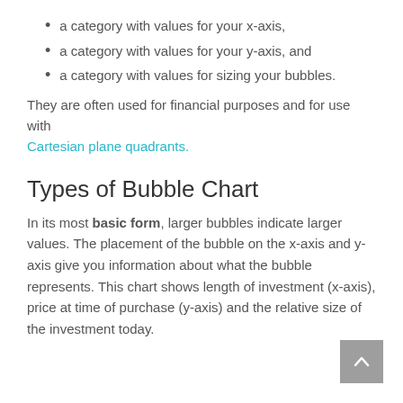a category with values for your x-axis,
a category with values for your y-axis, and
a category with values for sizing your bubbles.
They are often used for financial purposes and for use with Cartesian plane quadrants.
Types of Bubble Chart
In its most basic form, larger bubbles indicate larger values. The placement of the bubble on the x-axis and y-axis give you information about what the bubble represents. This chart shows length of investment (x-axis), price at time of purchase (y-axis) and the relative size of the investment today.